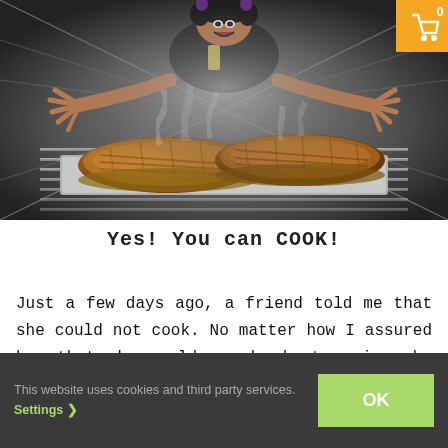[Figure (photo): View from inside an oven looking out: a woman with wild hair and an excited/panicked expression leans over the open oven, hands spread wide, steamy smoke rising. Two golden pies are visible on a baking tray on the oven rack. A shopping basket icon badge with '0' appears in the top-right corner.]
Yes! You can COOK!
Just a few days ago, a friend told me that she could not cook. No matter how I assured her that she could, , she kept saying she could not.
This website uses cookies and third party services. Settings ❯  OK